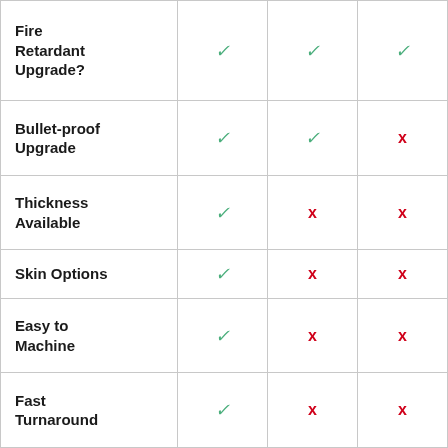| Feature | Col1 | Col2 | Col3 |
| --- | --- | --- | --- |
| Fire Retardant Upgrade? | ✓ | ✓ | ✓ |
| Bullet-proof Upgrade | ✓ | ✓ | ✗ |
| Thickness Available | ✓ | ✗ | ✗ |
| Skin Options | ✓ | ✗ | ✗ |
| Easy to Machine | ✓ | ✗ | ✗ |
| Fast Turnaround | ✓ | ✗ | ✗ |